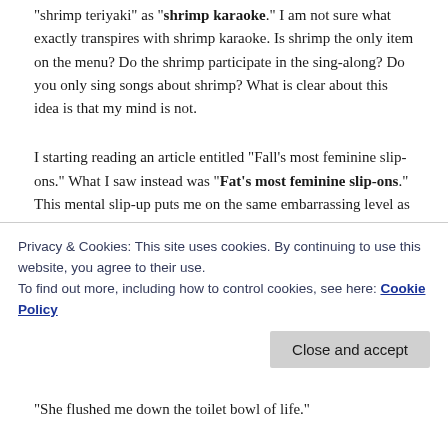“shrimp teriyaki” as “shrimp karaoke.”  I am not sure what exactly transpires with shrimp karaoke.  Is shrimp the only item on the menu?  Do the shrimp participate in the sing-along?  Do you only sing songs about shrimp?  What is clear about this idea is that my mind is not.
I starting reading an article entitled “Fall’s most feminine slip-ons.”  What I saw instead was “Fat’s most feminine slip-ons.”  This mental slip-up puts me on the same embarrassing level as Target labeling plus-size dresses as “Manatee gray.”  “Yes, my dear,” I say at a party, “you look very feminine in that fat slip-on.”  Followed by KA-POW!
A similar misread of an article turned “How are you faring?” into “How are you farting?”  Well, I suppose if
Privacy & Cookies: This site uses cookies. By continuing to use this website, you agree to their use.
To find out more, including how to control cookies, see here: Cookie Policy
“She flushed me down the toilet bowl of life.”